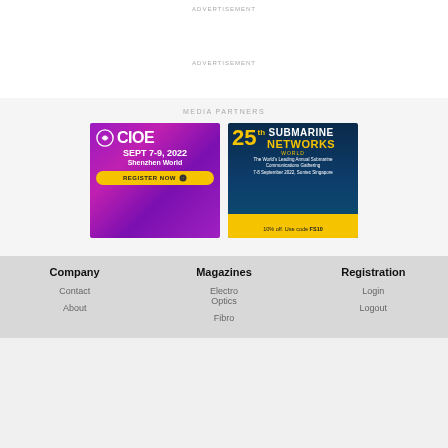ADVERTISEMENT
ADVERTISEMENT
MEDIA PARTNERS
[Figure (illustration): CIOE conference banner: Sept 7-9, 2022 Shenzhen World, Register Now]
[Figure (illustration): 25th Submarine Networks World banner: The World's Leading Annual Submarine Communications Gathering, 7-8 September 2022, Suntec Singapore, 10% off. Use code FS10]
Company
Magazines
Registration
Contact
Electro Optics
Login
About
Fibro
Logout